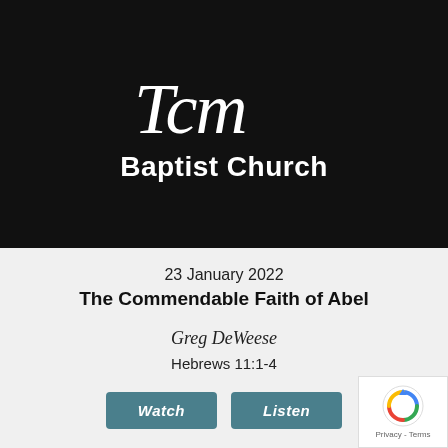[Figure (logo): TCM Baptist Church logo: stylized cursive 'Tcm' text in white on black background with 'Baptist Church' in bold white text below]
23 January 2022
The Commendable Faith of Abel
Greg DeWeese
Hebrews 11:1-4
Watch   Listen